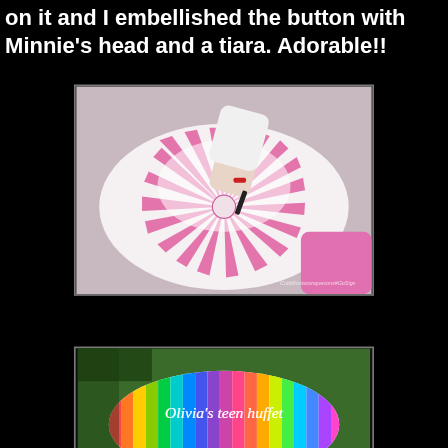on it and I embellished the button with Minnie's head and a tiara. Adorable!!
[Figure (photo): Child drawing pink and white striped circular ottoman/pouf with a marker. Pink stripes radiate from center. Watermark visible at bottom.]
[Figure (photo): Colorful rainbow-striped circular pouf/ottoman on grass with text 'Olivia's teen huffet' written on top in white script.]